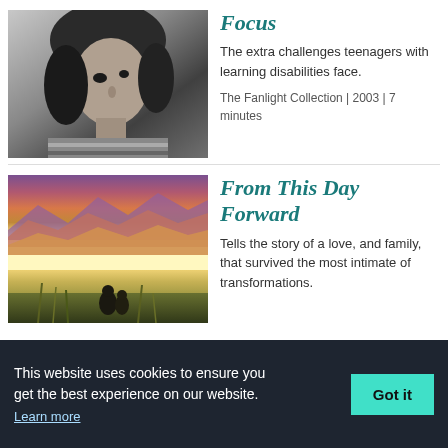[Figure (photo): Black and white photo of a teenager with long hair looking upward]
Focus
The extra challenges teenagers with learning disabilities face.
The Fanlight Collection | 2003 | 7 minutes
[Figure (photo): Colorful landscape photo with mountains and two figures near water at sunset]
From This Day Forward
Tells the story of a love, and family, that survived the most intimate of transformations.
This website uses cookies to ensure you get the best experience on our website. Learn more
Got it